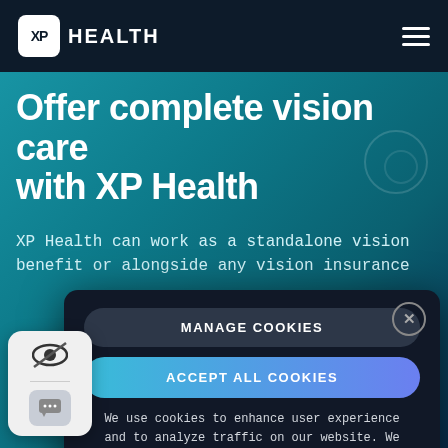XP HEALTH
Offer complete vision care with XP Health
XP Health can work as a standalone vision benefit or alongside any vision insurance
[Figure (screenshot): Cookie consent modal with 'MANAGE COOKIES' and 'ACCEPT ALL COOKIES' buttons, and privacy text about not sharing user data with advertisers]
We use cookies to enhance user experience and to analyze traffic on our website. We never share information about you or your use on our site with advertisers.